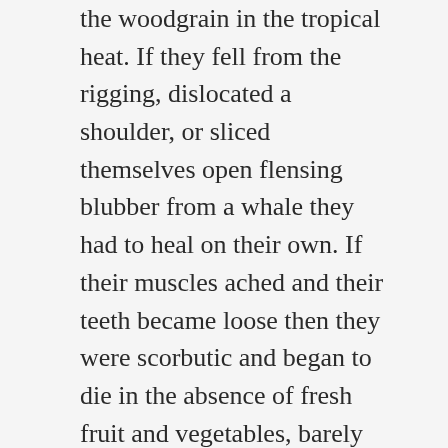the woodgrain in the tropical heat. If they fell from the rigging, dislocated a shoulder, or sliced themselves open flensing blubber from a whale they had to heal on their own. If their muscles ached and their teeth became loose then they were scorbutic and began to die in the absence of fresh fruit and vegetables, barely subsisting on a diet of salted meat and dry crackers.
They were men who voyaged into the void of the ocean for three years at a time, self-contained in their 100-foot ships, self-sufficient with enough rations and water to keep them alive for months without going ashore. They sailed into the blank spaces on